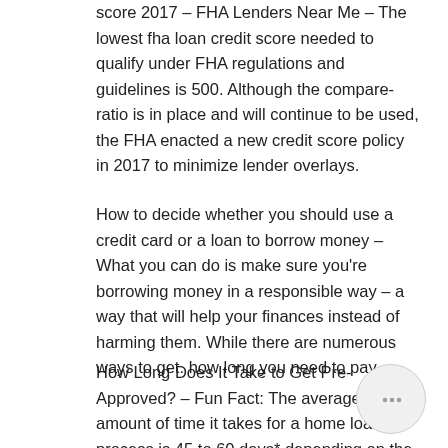score 2017 – FHA Lenders Near Me – The lowest fha loan credit score needed to qualify under FHA regulations and guidelines is 500. Although the compare-ratio is in place and will continue to be used, the FHA enacted a new credit score policy in 2017 to minimize lender overlays.
How to decide whether you should use a credit card or a loan to borrow money – What you can do is make sure you're borrowing money in a responsible way – a way that will help your finances instead of harming them. While there are numerous ways to get. how long you need to pay.
How Long Does It Take to Get Pre-Approved? – Fun Fact: The average amount of time it takes for a home loan to process is 45 to 60 days* depending on the lender and the loan type. We recommend having an honest